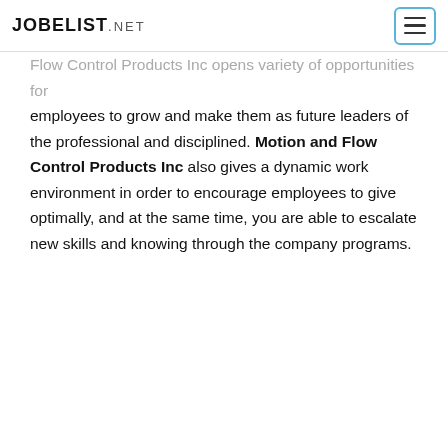JOBELIST.NET
Flow Control Products Inc opens variety of opportunities for employees to grow and make them as future leaders of the professional and disciplined. Motion and Flow Control Products Inc also gives a dynamic work environment in order to encourage employees to give optimally, and at the same time, you are able to escalate new skills and knowing through the company programs.